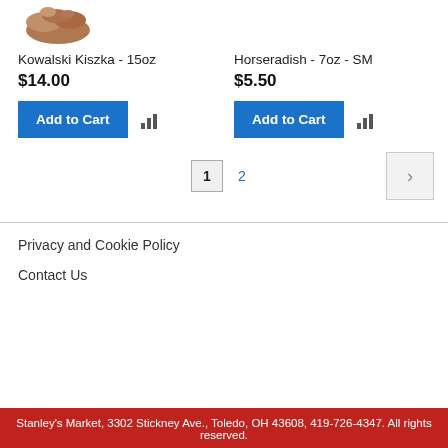[Figure (photo): Product photo of Kowalski Kiszka (sausage product)]
Kowalski Kiszka - 15oz
$14.00
Add to Cart
Horseradish - 7oz - SM
$5.50
Add to Cart
1  2  >
Privacy and Cookie Policy
Contact Us
Stanley's Market, 3302 Stickney Ave., Toledo, OH 43608, 419-726-4347. All rights reserved.